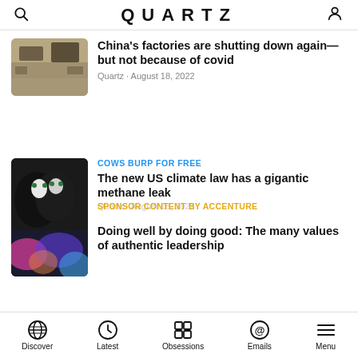QUARTZ
[Figure (photo): Thumbnail photo of Chinese factory/industrial area with salt flats or dry ponds]
China's factories are shutting down again—but not because of covid
Quartz · August 18, 2022
COWS BURP FOR FREE
[Figure (photo): Thumbnail photo of black cows with overlaid colorful abstract background]
The new US climate law has a gigantic methane leak
Quartz · August 18, 2022
SPONSOR CONTENT BY ACCENTURE
Doing well by doing good: The many values of authentic leadership
UNLIMITED WANTS
[Figure (photo): Partial thumbnail of teal/green textured image]
Discover · Latest · Obsessions · Emails · Menu